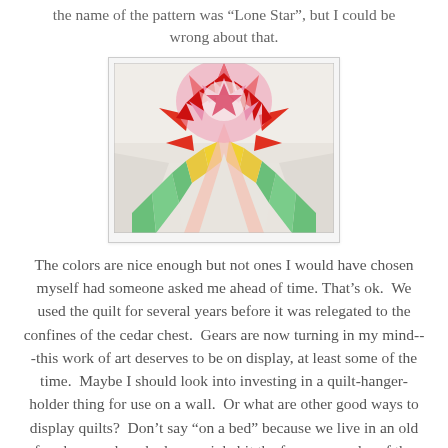the name of the pattern was 'Lone Star', but I could be wrong about that.
[Figure (photo): Close-up photo of a Lone Star quilt pattern draped over a surface, showing a large star design in red, pink, white, yellow, and green geometric shapes against a white background.]
The colors are nice enough but not ones I would have chosen myself had someone asked me ahead of time. That's ok. We used the quilt for several years before it was relegated to the confines of the cedar chest. Gears are now turning in my mind---this work of art deserves to be on display, at least some of the time. Maybe I should look into investing in a quilt-hanger-holder thing for use on a wall. Or what are other good ways to display quilts? Don't say “on a bed” because we live in an old farmhouse where bedrooms inhabit the far-away realm of the second story, out of sight of visitors (and thank goodness for that).